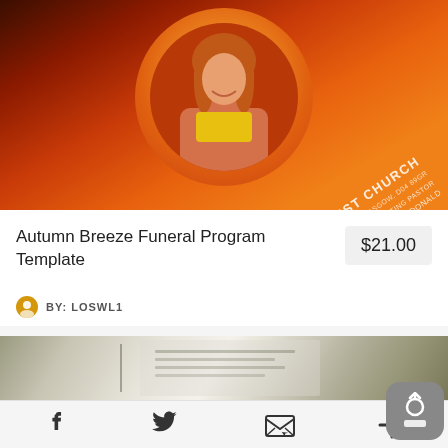[Figure (photo): Orange and red funeral program template cover with a smiling red-haired woman in a circular frame. Text reads 'NEW BIRTH BAPTIST CHURCH', address '8901 MARMORA ROAD, GLASGOW, D04 89GR', 'OFFICIATING PASTOR', 'DR. DAVID MCDONALD']
Autumn Breeze Funeral Program Template
$21.00
BY: LOSWL1
[Figure (photo): Partially visible image of an open booklet/program with olive green and white pages]
[Figure (other): Upload/share button icon (gray rounded square with upward arrow)]